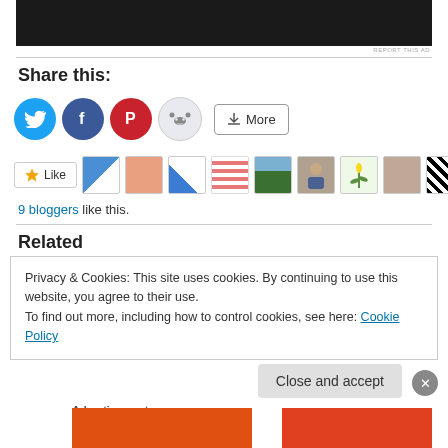[Figure (screenshot): Dark/black banner image area at top of page]
REPORT THIS AD
Share this:
[Figure (infographic): Social share buttons: Twitter (blue), Facebook (blue), Pinterest (red), Reddit (light gray), and a More button]
[Figure (infographic): Like button with star icon and a strip of 9 blogger avatars/icons]
9 bloggers like this.
Related
Privacy & Cookies: This site uses cookies. By continuing to use this website, you agree to their use.
To find out more, including how to control cookies, see here: Cookie Policy
Close and accept
Advertisements